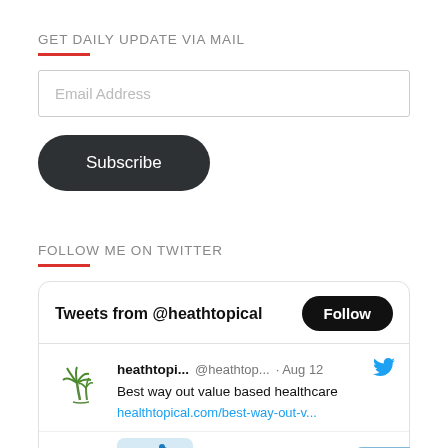GET DAILY UPDATE VIA MAIL
Email Address
Subscribe
FOLLOW ME ON TWITTER
Tweets from @heathtopical
Follow
heathtopi... @heathtop... · Aug 12
Best way out value based healthcare
healthtopical.com/best-way-out-v...
healthtopical.com